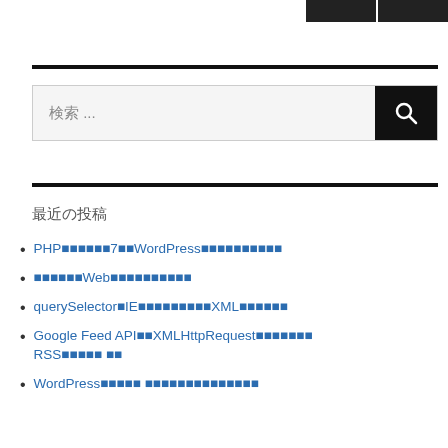[Figure (other): Two dark navigation buttons in top right corner]
[Figure (other): Search box with magnifying glass icon on dark button, placeholder text 検索 ...]
最近の投稿
PHPのバージョンを7以降にWordPressのアップデートについて
ネットショップ向けWebコンテンツのマーケティングについて
querySelectorのIEでの問題点とその対処法XMLのパース方法について
Google Feed APIでXMLHttpRequestを使ったRSSリーダーの 作り方
WordPressプラグイン プラグインの使い方まとめと注意点